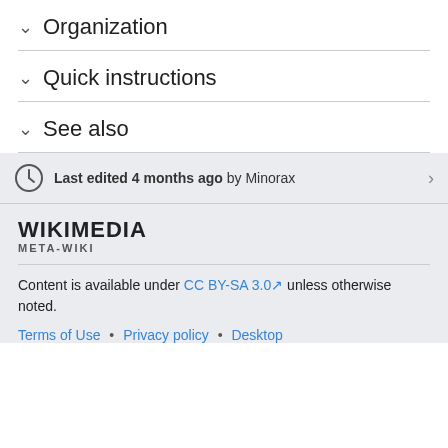Organization
Quick instructions
See also
Last edited 4 months ago by Minorax
[Figure (logo): Wikimedia Meta-Wiki logo]
Content is available under CC BY-SA 3.0 unless otherwise noted.
Terms of Use • Privacy policy • Desktop